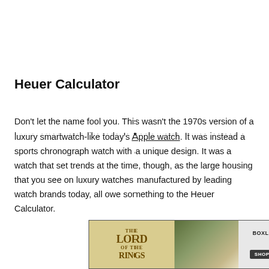Heuer Calculator
Don’t let the name fool you. This wasn’t the 1970s version of a luxury smartwatch-like today’s Apple watch. It was instead a sports chronograph watch with a unique design. It was a watch that set trends at the time, though, as the large housing that you see on luxury watches manufactured by leading watch brands today, all owe something to the Heuer Calculator.
[Figure (other): Advertisement banner for BoxLunch Lord of the Rings merchandise with a shop now button]